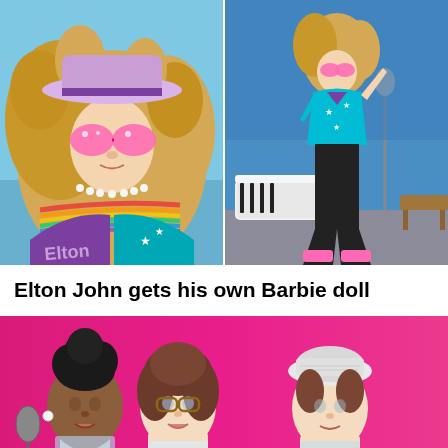[Figure (photo): Two photos side by side of an Elton John Barbie doll. Left: close-up of doll wearing a purple hat, pink star-shaped sunglasses, pearl necklace, and rainbow-striped jacket with purple 'Elton' varsity jacket, curly blonde hair. Right: full-body shot of the same doll in a performance pose with one arm raised, wearing a teal star-covered bomber jacket, black flared trousers with pink platform boots, standing in front of a white piano on a stage.]
Elton John gets his own Barbie doll
[Figure (photo): Photo showing three Barbie doll heads/busts against a pink background. Left doll: Black woman with upswept black hair and pearl earrings, with a vintage microphone beside her. Center doll: White woman with brown shoulder-length hair, wearing glasses. Right doll: White woman with brown hair wearing a white fabric hat/bonnet. The image is partially cropped at the bottom showing the beginning of another image.]